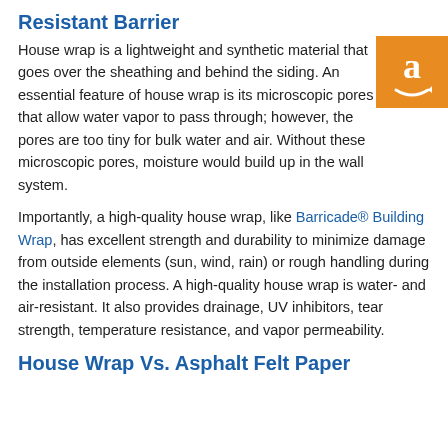Resistant Barrier
House wrap is a lightweight and synthetic material that goes over the sheathing and behind the siding. An essential feature of house wrap is its microscopic pores that allow water vapor to pass through; however, the pores are too tiny for bulk water and air. Without these microscopic pores, moisture would build up in the wall system.
[Figure (logo): Amazon logo badge in orange square with white 'a' and smile arrow]
Importantly, a high-quality house wrap, like Barricade® Building Wrap, has excellent strength and durability to minimize damage from outside elements (sun, wind, rain) or rough handling during the installation process. A high-quality house wrap is water- and air-resistant. It also provides drainage, UV inhibitors, tear strength, temperature resistance, and vapor permeability.
House Wrap Vs. Asphalt Felt Paper